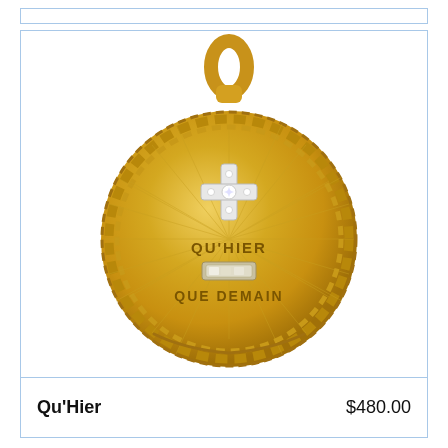[Figure (photo): Gold coin pendant jewelry with a cross and diamond accents, engraved with 'QU'HIER QUE DEMAIN', featuring a decorative rope border and gold bail/loop at the top.]
Qu'Hier
$480.00